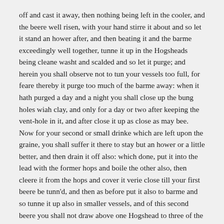off and cast it away, then nothing being left in the cooler, and the beere well risen, with your hand stirre it about and so let it stand an hower after, and then beating it and the barme exceedingly well together, tunne it up in the Hogsheads being cleane washt and scalded and so let it purge; and herein you shall observe not to tun your vessels too full, for feare thereby it purge too much of the barme away: when it hath purged a day and a night you shall close up the bung holes wiah clay, and only for a day or two after keeping the vent-hole in it, and after close it up as close as may bee. Now for your second or small drinke which are left upon the graine, you shall suffer it there to stay but an hower or a little better, and then drain it off also: which done, put it into the lead with the former hops and boile the other also, then cleere it from the hops and cover it verie close till your first beere be tunn'd, and then as before put it also to barme and so tunne it up also in smaller vessels, and of this second beere you shall not draw above one Hogshead to three of the better.